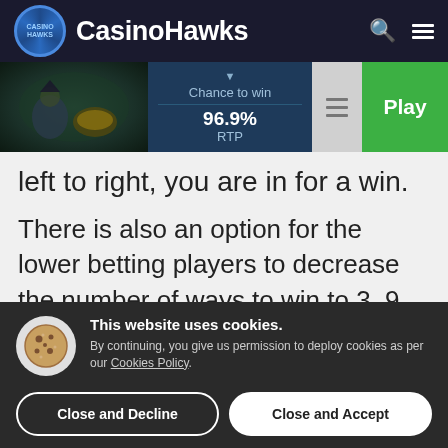CasinoHawks
[Figure (screenshot): Game thumbnail showing a pirate-themed slot game with dark fantasy art, alongside a game info bar showing Chance to win, 96.9% RTP, a menu icon, and a green Play button]
left to right, you are in for a win.
There is also an option for the lower betting players to decrease the number of ways to win to 3, 9, 27 or 81 bet ways but your winning possibilities will drop
This website uses cookies. By continuing, you give us permission to deploy cookies as per our Cookies Policy.
Close and Decline
Close and Accept